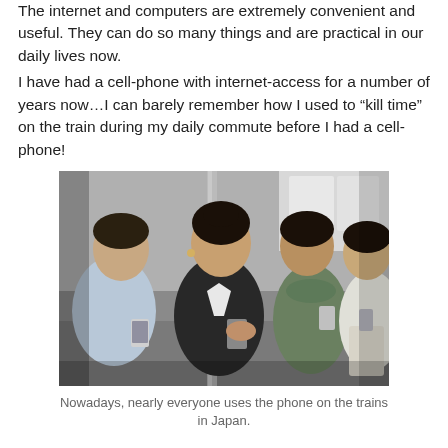The internet and computers are extremely convenient and useful. They can do so many things and are practical in our daily lives now.
I have had a cell-phone with internet-access for a number of years now…I can barely remember how I used to “kill time” on the train during my daily commute before I had a cell-phone!
[Figure (photo): Black and white photograph of several people on a train in Japan looking at their cell phones. Multiple commuters visible, women in foreground using smartphones.]
Nowadays, nearly everyone uses the phone on the trains in Japan.